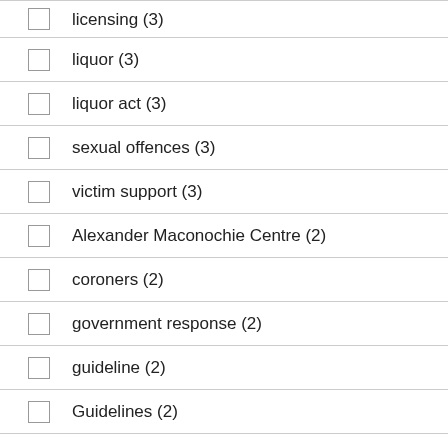licensing (3)
liquor (3)
liquor act (3)
sexual offences (3)
victim support (3)
Alexander Maconochie Centre (2)
coroners (2)
government response (2)
guideline (2)
Guidelines (2)